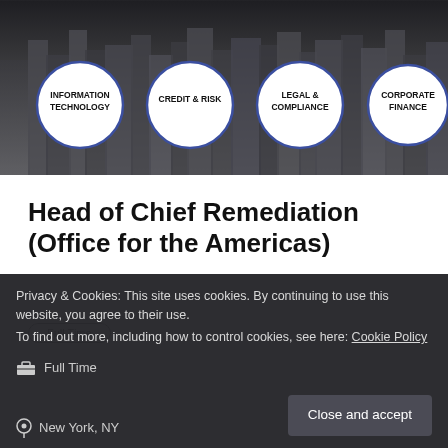[Figure (illustration): City skyline background with four circular badges labeled: INFORMATION TECHNOLOGY, CREDIT & RISK, LEGAL & COMPLIANCE, CORPORATE FINANCE]
Head of Chief Remediation (Office for the Americas)
Full Time
Privacy & Cookies: This site uses cookies. By continuing to use this website, you agree to their use.
To find out more, including how to control cookies, see here: Cookie Policy
Full Time
New York, NY